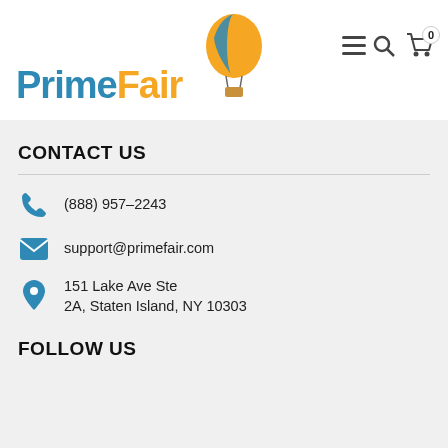[Figure (logo): PrimeFair logo with hot air balloon icon, 'Prime' in teal and 'Fair' in orange]
CONTACT US
(888) 957-2243
support@primefair.com
151 Lake Ave Ste 2A, Staten Island, NY 10303
FOLLOW US